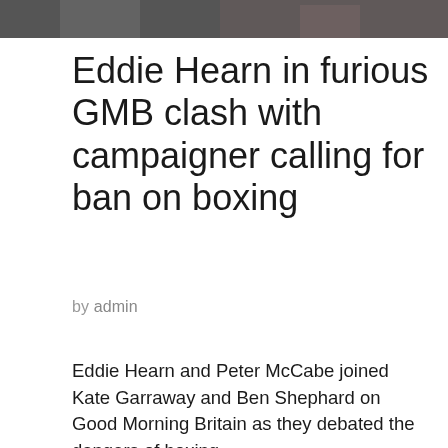[Figure (photo): Cropped bottom portion of a photo showing people in suits, one wearing a striped tie]
Eddie Hearn in furious GMB clash with campaigner calling for ban on boxing
by admin
Eddie Hearn and Peter McCabe joined Kate Garraway and Ben Shephard on Good Morning Britain as they debated the dangers of boxing
Video Loading
Video Unavailable